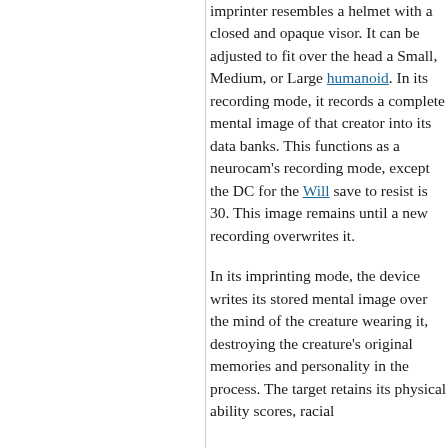imprinter resembles a helmet with a closed and opaque visor. It can be adjusted to fit over the head a Small, Medium, or Large humanoid. In its recording mode, it records a complete mental image of that creator into its data banks. This functions as a neurocam's recording mode, except the DC for the Will save to resist is 30. This image remains until a new recording overwrites it.
In its imprinting mode, the device writes its stored mental image over the mind of the creature wearing it, destroying the creature's original memories and personality in the process. The target retains its physical ability scores, racial